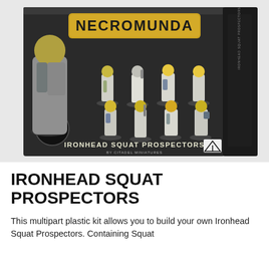[Figure (photo): Product box image of Necromunda Ironhead Squat Prospectors miniatures set by Citadel Miniatures. The box shows 8 painted dwarf-like miniatures in heavy armour, with the Necromunda logo at the top and 'Ironhead Squat Prospectors by Citadel Miniatures' text at the bottom of the box.]
IRONHEAD SQUAT PROSPECTORS
This multipart plastic kit allows you to build your own Ironhead Squat Prospectors. Containing Squat